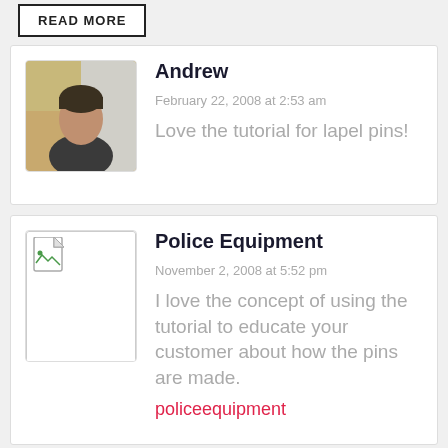READ MORE
Andrew
February 22, 2008 at 2:53 am
Love the tutorial for lapel pins!
Police Equipment
November 2, 2008 at 5:52 pm
I love the concept of using the tutorial to educate your customer about how the pins are made.
policeequipment